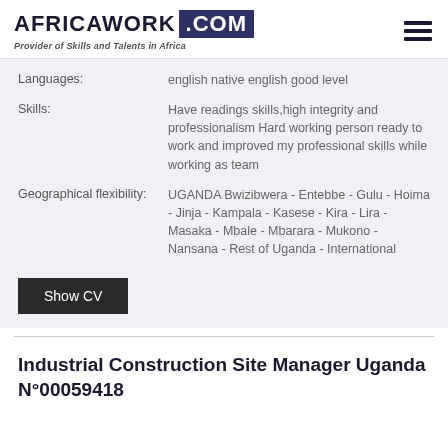AFRICAWORK .COM — Provider of Skills and Talents in Africa
Languages: english native english good level
Skills: Have readings skills,high integrity and professionalism Hard working person ready to work and improved my professional skills while working as team
Geographical flexibility: UGANDA Bwizibwera - Entebbe - Gulu - Hoima - Jinja - Kampala - Kasese - Kira - Lira - Masaka - Mbale - Mbarara - Mukono - Nansana - Rest of Uganda - International
Show CV
Industrial Construction Site Manager Uganda N°00059418